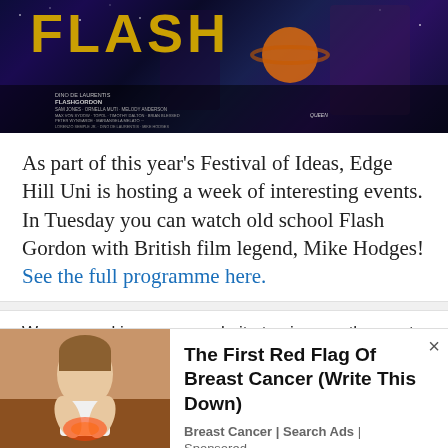[Figure (illustration): Flash Gordon movie poster with sci-fi imagery, characters in costume against a space background. Credits include Sam Jones, Ornella Muti, Melody Anderson, Max Von Sydow, Topol, Timothy Dalton, Brian Blessed, Peter Wyngarde, Mariangela Melato, music by Queen, produced by Lorenzo Semple Jr., Dino De Laurentiis, Mike Hodges.]
As part of this year's Festival of Ideas, Edge Hill Uni is hosting a week of interesting events. In Tuesday you can watch old school Flash Gordon with British film legend, Mike Hodges! See the full programme here.
We use cookies on our website to give you the most relevant experience by remembering your preferences and repeat visits. By clicking "Accept All", you consent to the use of ALL the cookies. However, you may visit "Cookie Settings" to provide a controlled consent.
[Figure (photo): Advertisement image showing a person holding their chest area suggesting breast cancer awareness]
The First Red Flag Of Breast Cancer (Write This Down)
Breast Cancer | Search Ads | Sponsored